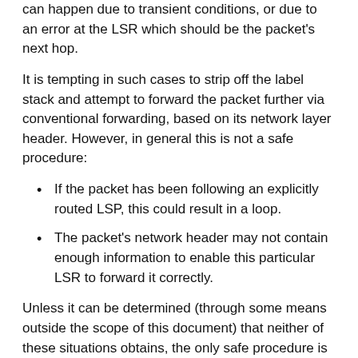can happen due to transient conditions, or due to an error at the LSR which should be the packet's next hop.
It is tempting in such cases to strip off the label stack and attempt to forward the packet further via conventional forwarding, based on its network layer header. However, in general this is not a safe procedure:
If the packet has been following an explicitly routed LSP, this could result in a loop.
The packet's network header may not contain enough information to enable this particular LSR to forward it correctly.
Unless it can be determined (through some means outside the scope of this document) that neither of these situations obtains, the only safe procedure is to discard the packet.
3.23. Time-to-Live (TTL)
In conventional IP forwarding, each packet carries a "Time